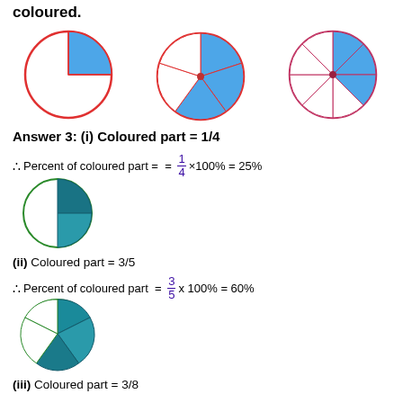coloured.
[Figure (illustration): Three pie chart diagrams with red outlines showing fractions: first with 1/4 coloured blue, second with 3/5 coloured blue, third with 3/8 coloured blue]
Answer 3: (i) Coloured part = 1/4
[Figure (illustration): Pie chart with dark teal 3D quarter slice coloured, green outline circle]
(ii) Coloured part = 3/5
[Figure (illustration): Pie chart with dark teal 3D three-fifths slices coloured, green outline circle]
(iii) Coloured part = 3/8